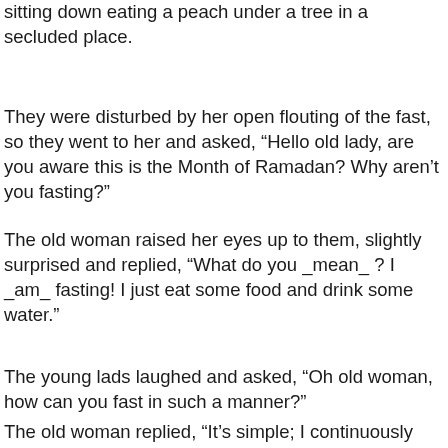... a few young men saw an old woman sitting down eating a peach under a tree in a secluded place.
They were disturbed by her open flouting of the fast, so they went to her and asked, “Hello old lady, are you aware this is the Month of Ramadan? Why aren’t you fasting?”
The old woman raised her eyes up to them, slightly surprised and replied, “What do you _mean_ ? I _am_ fasting! I just eat some food and drink some water.”
The young lads laughed and asked, “Oh old woman, how can you fast in such a manner?”
The old woman replied, “It’s simple; I continuously